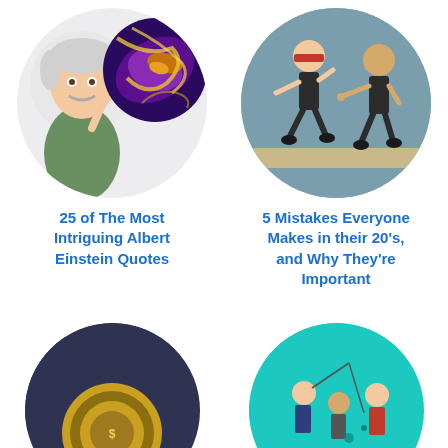[Figure (illustration): Circular illustration showing a cartoon elderly man (Einstein-like) with white hair pointing upward, overlapping with a colorful cosmic/galaxy swirl image in purple and yellow tones. Background circle is light gray.]
[Figure (illustration): Circular illustration showing two cartoon businessmen in suits on a teal-gray background — one blindfolded and one pointing, suggesting mistakes or blind decision-making.]
25 of The Most Intriguing Albert Einstein Quotes
5 Mistakes Everyone Makes in their 20's, and Why They're Important
[Figure (illustration): Circular illustration with dark navy/blue background showing a rolled measuring tape or coin, partially visible at bottom of page.]
[Figure (illustration): Circular illustration with teal/cyan background showing cartoon figures appearing to fish or draw something from water, partially visible at bottom of page.]